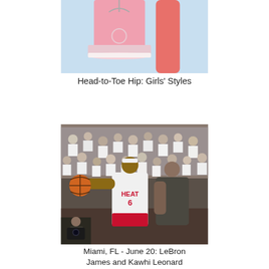[Figure (photo): Girls clothing items on light blue background: a pink dress/top and pink leggings, partially cropped at top]
Head-to-Toe Hip: Girls' Styles
[Figure (photo): LeBron James wearing Miami Heat jersey number 6 dribbling a basketball, guarded by Kawhi Leonard, with crowd in white shirts in background. Miami, FL - June 20.]
Miami, FL - June 20: LeBron James and Kawhi Leonard Photo